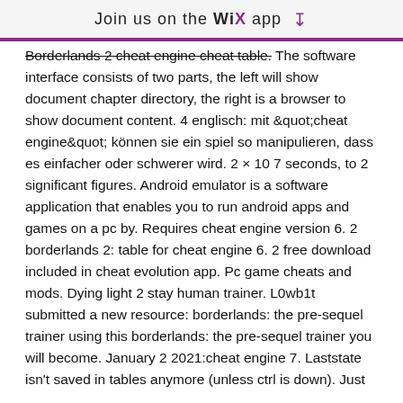Join us on the WiX app ↓
Borderlands 2 cheat engine cheat table. The software interface consists of two parts, the left will show document chapter directory, the right is a browser to show document content. 4 englisch: mit "cheat engine" können sie ein spiel so manipulieren, dass es einfacher oder schwerer wird. 2 × 10 7 seconds, to 2 significant figures. Android emulator is a software application that enables you to run android apps and games on a pc by. Requires cheat engine version 6. 2 borderlands 2: table for cheat engine 6. 2 free download included in cheat evolution app. Pc game cheats and mods. Dying light 2 stay human trainer. L0wb1t submitted a new resource: borderlands: the pre-sequel trainer using this borderlands: the pre-sequel trainer you will become. January 2 2021:cheat engine 7. Laststate isn't saved in tables anymore (unless ctrl is down). Just